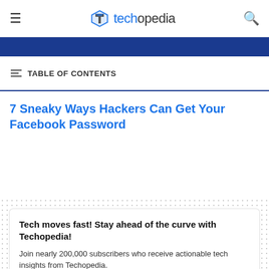techopedia
[Figure (photo): Partial blue header image strip at top of article]
TABLE OF CONTENTS
7 Sneaky Ways Hackers Can Get Your Facebook Password
Tech moves fast! Stay ahead of the curve with Techopedia!
Join nearly 200,000 subscribers who receive actionable tech insights from Techopedia.